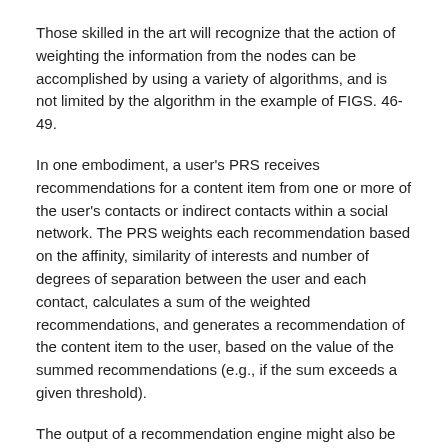Those skilled in the art will recognize that the action of weighting the information from the nodes can be accomplished by using a variety of algorithms, and is not limited by the algorithm in the example of FIGS. 46-49.
In one embodiment, a user's PRS receives recommendations for a content item from one or more of the user's contacts or indirect contacts within a social network. The PRS weights each recommendation based on the affinity, similarity of interests and number of degrees of separation between the user and each contact, calculates a sum of the weighted recommendations, and generates a recommendation of the content item to the user, based on the value of the summed recommendations (e.g., if the sum exceeds a given threshold).
The output of a recommendation engine might also be used in the discrimination process to select certain content for presentation (i.e., to generate personalized recommendations) to a user. Referring to FIG. 61, in one embodiment, information about content is introduced, the adoption statistics and demographics of the content are determined, combined with the demographics of the